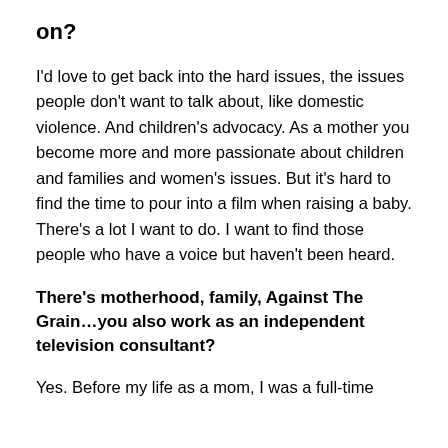on?
I'd love to get back into the hard issues, the issues people don't want to talk about, like domestic violence. And children's advocacy. As a mother you become more and more passionate about children and families and women's issues. But it's hard to find the time to pour into a film when raising a baby. There's a lot I want to do. I want to find those people who have a voice but haven't been heard.
There's motherhood, family, Against The Grain…you also work as an independent television consultant?
Yes. Before my life as a mom, I was a full-time